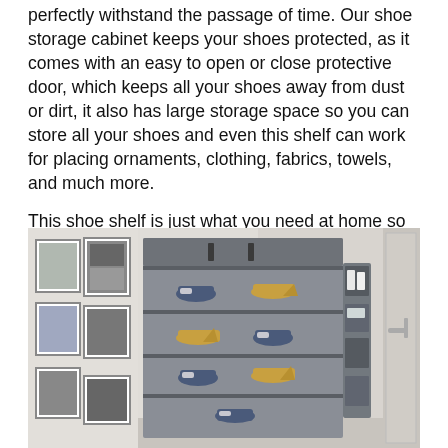perfectly withstand the passage of time. Our shoe storage cabinet keeps your shoes protected, as it comes with an easy to open or close protective door, which keeps all your shoes away from dust or dirt, it also has large storage space so you can store all your shoes and even this shelf can work for placing ornaments, clothing, fabrics, towels, and much more.

This shoe shelf is just what you need at home so don't hesitate and buy it right now!
[Figure (photo): A grey fabric shoe storage cabinet with multiple shelves holding pairs of shoes (sneakers and heeled sandals), side pockets, and a protective door. The cabinet is placed in a room with framed wall art on the left and a door visible on the right.]